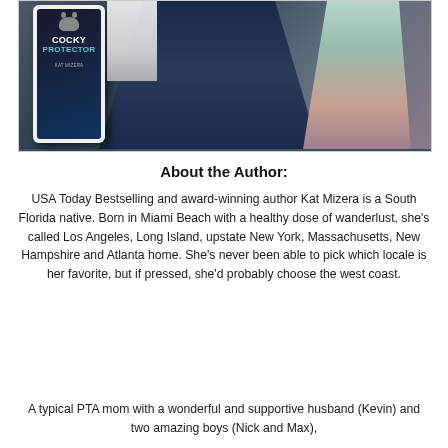[Figure (photo): Book promotion image showing a phone with 'Cocky Protector by Kat Mizera' book cover on the left, and behind it a man in a dark blue suit and a woman in a light dress, showing only their torsos and hands.]
About the Author:
USA Today Bestselling and award-winning author Kat Mizera is a South Florida native. Born in Miami Beach with a healthy dose of wanderlust, she's called Los Angeles, Long Island, upstate New York, Massachusetts, New Hampshire and Atlanta home. She's never been able to pick which locale is her favorite, but if pressed, she'd probably choose the west coast.
A typical PTA mom with a wonderful and supportive husband (Kevin) and two amazing boys (Nick and Max),